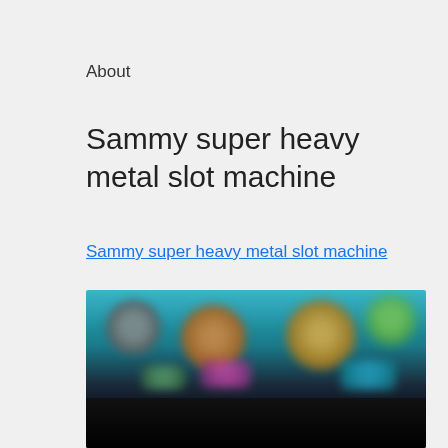About
Sammy super heavy metal slot machine
Sammy super heavy metal slot machine
[Figure (screenshot): Screenshot of a game interface showing colorful blurred character thumbnails on a dark teal/dark background, with game selection tiles visible including characters in green, orange/brown tones, and teal colors arranged in a grid.]